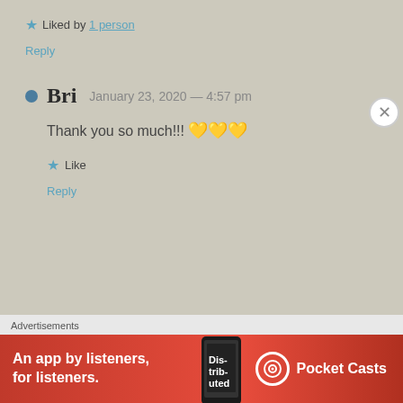★ Liked by 1 person
Reply
Bri  January 23, 2020 — 4:57 pm
Thank you so much!!! 💛💛💛
★ Like
Reply
Advertisements
[Figure (other): Pocket Casts advertisement banner: red background with phone image, text 'An app by listeners, for listeners.' and Pocket Casts logo]